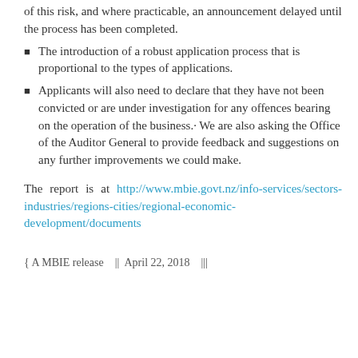of this risk, and where practicable, an announcement delayed until the process has been completed.
The introduction of a robust application process that is proportional to the types of applications.
Applicants will also need to declare that they have not been convicted or are under investigation for any offences bearing on the operation of the business.· We are also asking the Office of the Auditor General to provide feedback and suggestions on any further improvements we could make.
The report is at http://www.mbie.govt.nz/info-services/sectors-industries/regions-cities/regional-economic-development/documents
{ A MBIE release   ||  April 22, 2018   |||